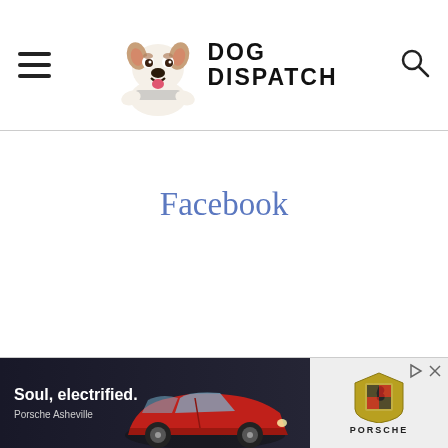Dog Dispatch
Facebook
[Figure (illustration): Advertisement banner: Porsche Asheville 'Soul, electrified.' ad with red sports car on dark background, Porsche logo on right side]